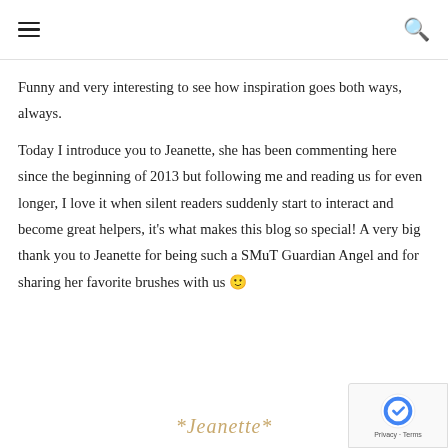[hamburger menu icon] [search icon]
Funny and very interesting to see how inspiration goes both ways, always.
Today I introduce you to Jeanette, she has been commenting here since the beginning of 2013 but following me and reading us for even longer, I love it when silent readers suddenly start to interact and become great helpers, it's what makes this blog so special! A very big thank you to Jeanette for being such a SMuT Guardian Angel and for sharing her favorite brushes with us 🙂
*Jeanette*